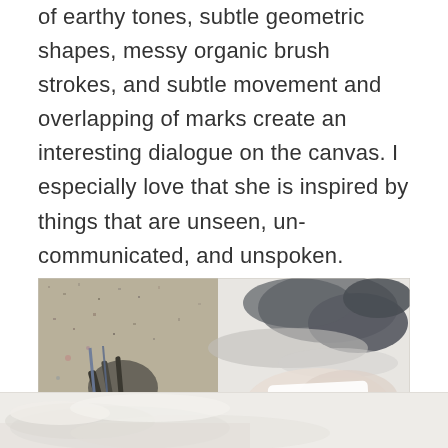of earthy tones, subtle geometric shapes, messy organic brush strokes, and subtle movement and overlapping of marks create an interesting dialogue on the canvas. I especially love that she is inspired by things that are unseen, un-communicated, and unspoken.
[Figure (photo): Close-up photograph of an artist's hand holding a paintbrush with sandy/gritty texture on the left side of the canvas, and loose abstract brushstrokes in grey and white on the right side of the canvas.]
[Figure (photo): Bottom strip showing the lower continuation of the abstract painting with pale, light brushstrokes on a whitish background.]